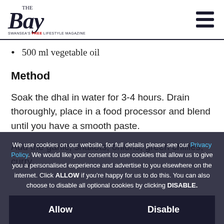The Bay — Swansea's free lifestyle magazine
500 ml vegetable oil
Method
Soak the dhal in water for 3-4 hours. Drain thoroughly, place in a food processor and blend until you have a smooth paste.
Add the garlic, shallots, onions, green chillies, curry...
Lay a piece of cling ... board or work surface. Place a piece of the mixture about the size of a golf ball in the palm of your hand. Have your finger, make a hole with the...
We use cookies on our website, for full details please see our Privacy Policy. We would like your consent to use cookies that allow us to give you a personalised experience and advertise to you elsewhere on the internet. Click ALLOW if you're happy for us to do this. You can also choose to disable all optional cookies by clicking DISABLE.